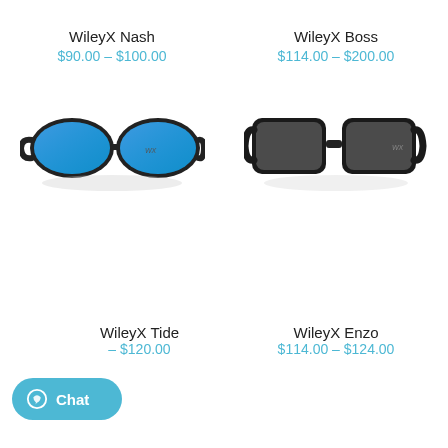WileyX Nash
$90.00 – $100.00
[Figure (photo): WileyX Nash sunglasses with black frames and blue mirrored lenses]
WileyX Boss
$114.00 – $200.00
[Figure (photo): WileyX Boss sunglasses with dark frames and grey lenses]
WileyX Tide
– $120.00
WileyX Enzo
$114.00 – $124.00